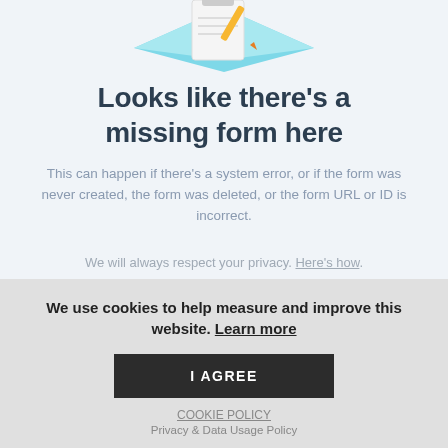[Figure (illustration): Isometric illustration of a clipboard/form with a pencil on a light blue diamond-shaped platform, partially visible at top of page.]
Looks like there's a missing form here
This can happen if there's a system error, or if the form was never created, the form was deleted, or the form URL or ID is incorrect.
We will always respect your privacy. Here's how.
We use cookies to help measure and improve this website. Learn more
I AGREE
COOKIE POLICY
Privacy & Data Usage Policy